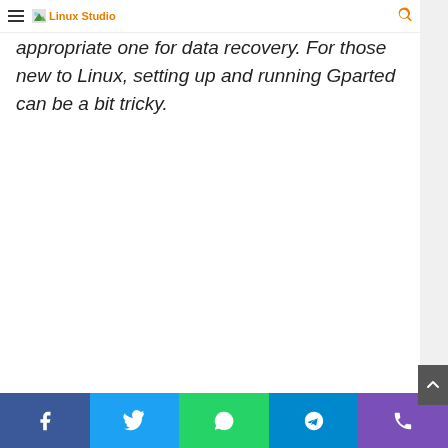Linux Studio
after it is deployed, and you have to select the appropriate one for data recovery. For those new to Linux, setting up and running Gparted can be a bit tricky.